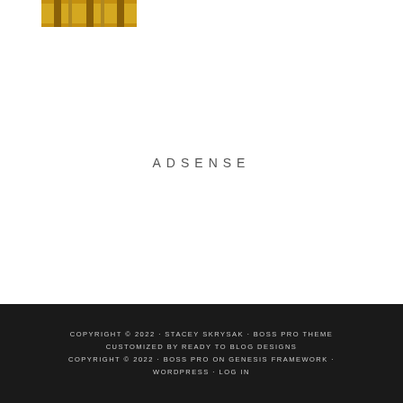[Figure (photo): Small thumbnail image showing yellow/gold striped content, partially visible at top of page]
ADSENSE
COPYRIGHT © 2022 · STACEY SKRYSAK · BOSS PRO THEME CUSTOMIZED BY READY TO BLOG DESIGNS COPYRIGHT © 2022 · BOSS PRO ON GENESIS FRAMEWORK · WORDPRESS · LOG IN